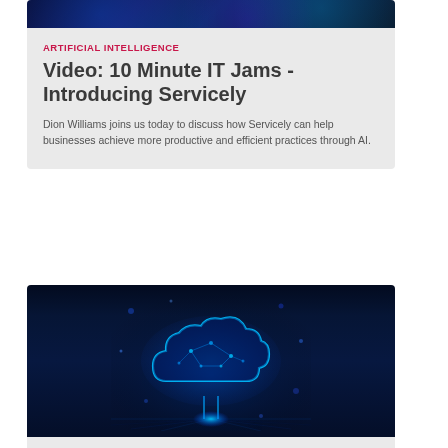[Figure (photo): Dark technology circuit board background image at top of first card]
ARTIFICIAL INTELLIGENCE
Video: 10 Minute IT Jams - Introducing Servicely
Dion Williams joins us today to discuss how Servicely can help businesses achieve more productive and efficient practices through AI.
[Figure (photo): Blue glowing cloud icon with network connections on dark background, representing multi-cloud technology]
MULTI-CLOUD